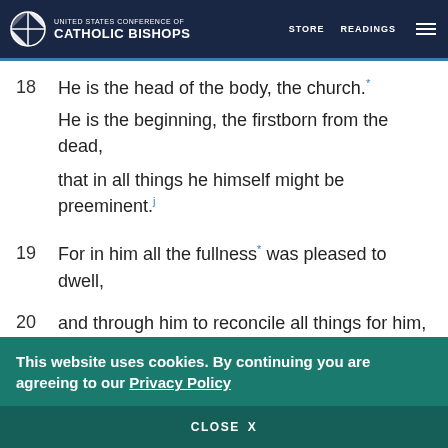UNITED STATES CONFERENCE OF CATHOLIC BISHOPS | STORE | READINGS
18 He is the head of the body, the church.* He is the beginning, the firstborn from the dead, that in all things he himself might be preeminent.j
19 For in him all the fullness* was pleased to dwell,
20 and through him to reconcile all things for him,
This website uses cookies. By continuing you are agreeing to our Privacy Policy
CLOSE X